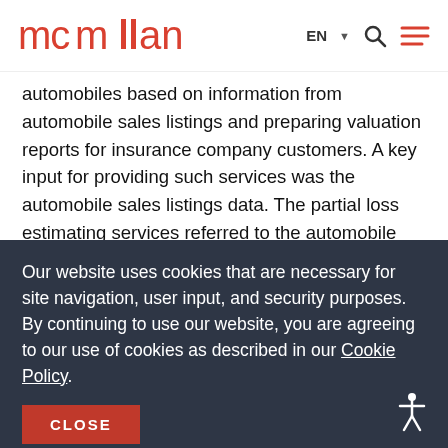[Figure (logo): McMillan law firm logo in red]
automobiles based on information from automobile sales listings and preparing valuation reports for insurance company customers. A key input for providing such services was the automobile sales listings data. The partial loss estimating services referred to the automobile repair estimates offered to both insurance companies and repair shops. Unlike total loss valuation services, partial loss
Our website uses cookies that are necessary for site navigation, user input, and security purposes. By continuing to use our website, you are agreeing to our use of cookies as described in our Cookie Policy.
CLOSE